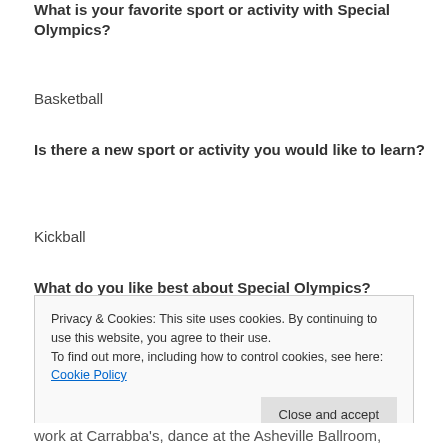What is your favorite sport or activity with Special Olympics?
Basketball
Is there a new sport or activity you would like to learn?
Kickball
What do you like best about Special Olympics?
Privacy & Cookies: This site uses cookies. By continuing to use this website, you agree to their use.
To find out more, including how to control cookies, see here: Cookie Policy
Close and accept
work at Carrabba's, dance at the Asheville Ballroom,